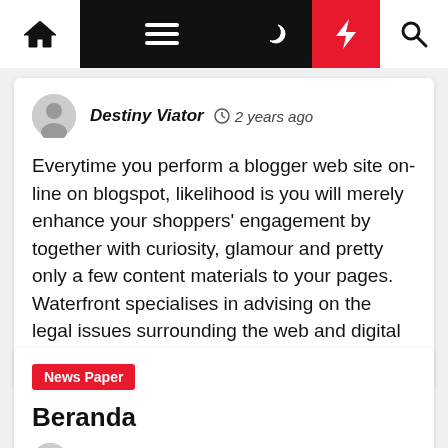Navigation bar with home, menu, moon, bolt, search icons
Destiny Viator  2 years ago
Everytime you perform a blogger web site on-line on blogspot, likelihood is you will merely enhance your shoppers' engagement by together with curiosity, glamour and pretty only a few content materials to your pages. Waterfront specialises in advising on the legal issues surrounding the web and digital media; drafting contracts [...]
News Paper
Beranda